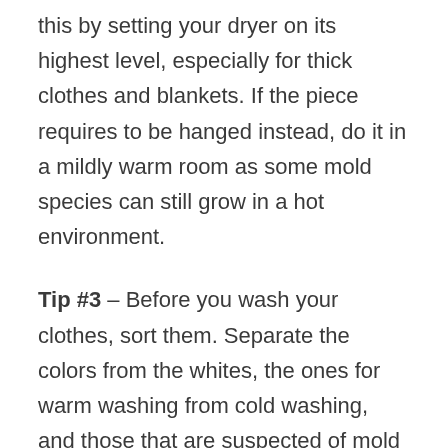this by setting your dryer on its highest level, especially for thick clothes and blankets. If the piece requires to be hanged instead, do it in a mildly warm room as some mold species can still grow in a hot environment.
Tip #3 – Before you wash your clothes, sort them. Separate the colors from the whites, the ones for warm washing from cold washing, and those that are suspected of mold growth from the uninfected. This prevents the spreading of molds and stains. For those that will have to be warm washed, wipe the steam that can be produced by